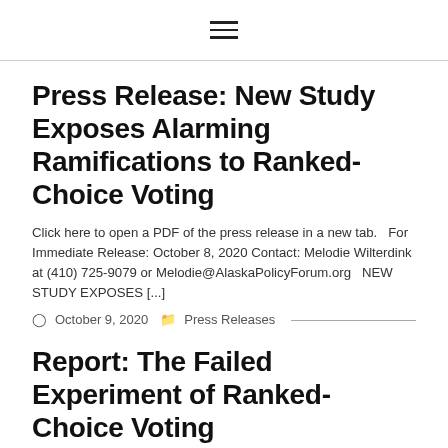☰
Press Release: New Study Exposes Alarming Ramifications to Ranked-Choice Voting
Click here to open a PDF of the press release in a new tab.   For Immediate Release: October 8, 2020 Contact: Melodie Wilterdink at (410) 725-9079 or Melodie@AlaskaPolicyForum.org   NEW STUDY EXPOSES [...]
🕐 October 9, 2020  🗁 Press Releases
Report: The Failed Experiment of Ranked-Choice Voting